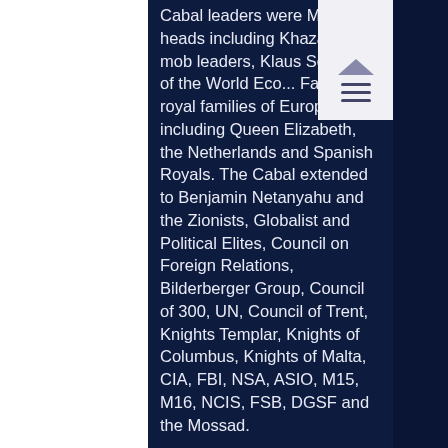Cabal leaders were Mafia heads including Khazarian mob leaders, Klaus Schwab of the World Economic Fascists, royal families of Europe including Queen Elizabeth, the Netherlands and Spanish Royals. The Cabal extended to Benjamin Netanyahu and the Zionists, Globalist and Political Elites, Council on Foreign Relations, Bilderberger Group, Council of 300, UN, Council of Trent, Knights Templar, Knights of Columbus, Knights of Malta, CIA, FBI, NSA, ASIO, M15, M16, NCIS, FSB, DGSF and the Mossad.
BRICS was an alliance of the nations of Brazil, Russia, India, China and South Africa formed in 2008 after the so-called US “Mortgage Crisis.” In